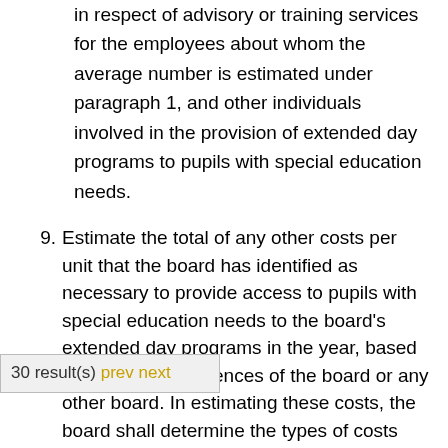in respect of advisory or training services for the employees about whom the average number is estimated under paragraph 1, and other individuals involved in the provision of extended day programs to pupils with special education needs.
9. Estimate the total of any other costs per unit that the board has identified as necessary to provide access to pupils with special education needs to the board's extended day programs in the year, based on relevant experiences of the board or any other board. In estimating these costs, the board shall determine the types of costs necessary and the amount of each type of costs that is necessary
30 result(s) prev next